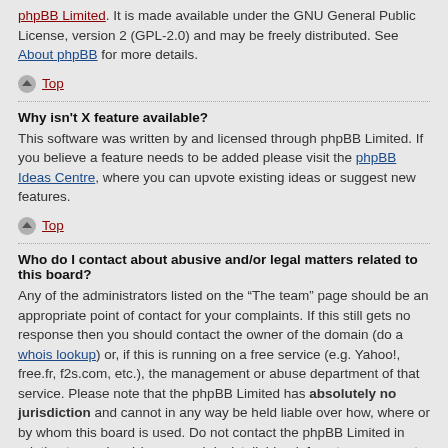phpBB Limited. It is made available under the GNU General Public License, version 2 (GPL-2.0) and may be freely distributed. See About phpBB for more details.
Top
Why isn't X feature available?
This software was written by and licensed through phpBB Limited. If you believe a feature needs to be added please visit the phpBB Ideas Centre, where you can upvote existing ideas or suggest new features.
Top
Who do I contact about abusive and/or legal matters related to this board?
Any of the administrators listed on the “The team” page should be an appropriate point of contact for your complaints. If this still gets no response then you should contact the owner of the domain (do a whois lookup) or, if this is running on a free service (e.g. Yahoo!, free.fr, f2s.com, etc.), the management or abuse department of that service. Please note that the phpBB Limited has absolutely no jurisdiction and cannot in any way be held liable over how, where or by whom this board is used. Do not contact the phpBB Limited in relation to any legal (cease and desist, liable, defamatory comment, etc.) matter not directly related to the phpBB.com website or the discrete software of phpBB itself. If you do email phpBB Limited about any third party